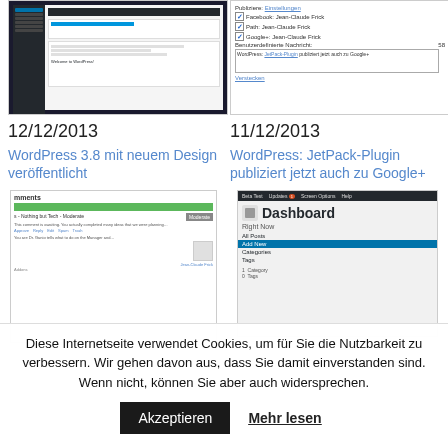[Figure (screenshot): WordPress admin dashboard screenshot with dark background and blue sidebar]
[Figure (screenshot): WordPress Jetpack plugin Google+ sharing settings panel showing checkboxes for Facebook, Path, Google+ with Jean-Claude Frick]
12/12/2013
WordPress 3.8 mit neuem Design veröffentlicht
11/12/2013
WordPress: JetPack-Plugin publiziert jetzt auch zu Google+
[Figure (screenshot): WordPress comments moderation screen with green bar]
[Figure (screenshot): WordPress Dashboard screen with Add New menu item highlighted in blue]
Diese Internetseite verwendet Cookies, um für Sie die Nutzbarkeit zu verbessern. Wir gehen davon aus, dass Sie damit einverstanden sind. Wenn nicht, können Sie aber auch widersprechen.
Akzeptieren
Mehr lesen